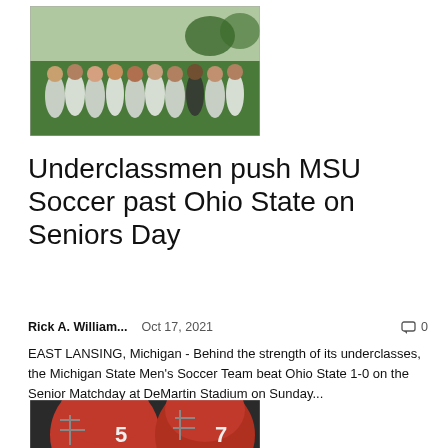[Figure (photo): Group photo of MSU Men's Soccer team on a field, standing in a semi-circle in green and white uniforms, outdoor setting with trees in background]
Underclassmen push MSU Soccer past Ohio State on Seniors Day
Rick A. William...   Oct 17, 2021   🗨 0
EAST LANSING, Michigan - Behind the strength of its underclasses, the Michigan State Men's Soccer Team beat Ohio State 1-0 on the Senior Matchday at DeMartin Stadium on Sunday...
[Figure (photo): Close-up photo of Ohio State football players in red helmets and jerseys]